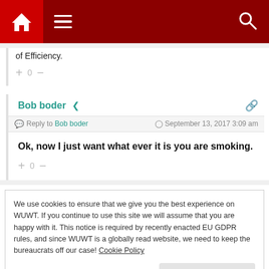WUWT website navigation bar with home, menu, and search icons
of Efficiency.
+ 0 −
Bob boder
Reply to Bob boder  September 13, 2017 3:09 am
Ok, now I just want what ever it is you are smoking.
+ 0 −
We use cookies to ensure that we give you the best experience on WUWT. If you continue to use this site we will assume that you are happy with it. This notice is required by recently enacted EU GDPR rules, and since WUWT is a globally read website, we need to keep the bureaucrats off our case! Cookie Policy
Close and accept
would exist on civilization for that matter?